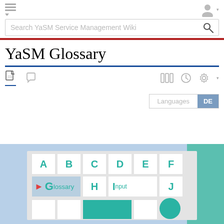[Figure (screenshot): YaSM Glossary Wiki page screenshot showing navigation header with hamburger menu, user icon, search bar for 'Search YaSM Service Management Wiki', red/blue divider, page title 'YaSM Glossary', tab icons, Languages/DE button, and a glossary letter-index graphic with letters A-J and labeled cells.]